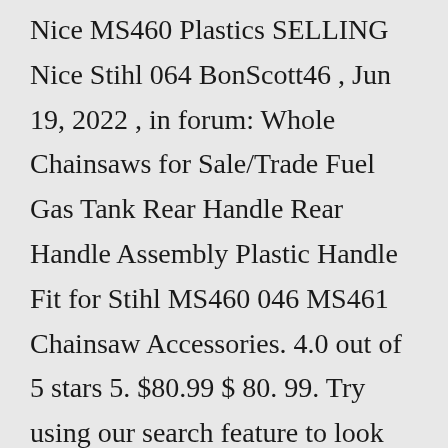Nice MS460 Plastics SELLING Nice Stihl 064 BonScott46 , Jun 19, 2022 , in forum: Whole Chainsaws for Sale/Trade Fuel Gas Tank Rear Handle Rear Handle Assembly Plastic Handle Fit for Stihl MS460 046 MS461 Chainsaw Accessories. 4.0 out of 5 stars 5. $80.99 $ 80. 99. Try using our search feature to look for the part. Contact a customer service representative through Live Chat, right here on the website for